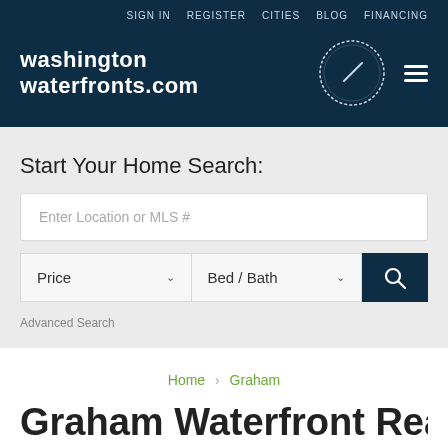SIGN IN  REGISTER  CITIES  BLOG  FINANCING
[Figure (logo): washington waterfronts.com logo with circular compass/speedometer icon and hamburger menu]
Start Your Home Search:
Enter Location or MLS #
Price  Bed / Bath
Advanced Search
Home > Graham
Graham Waterfront Real...